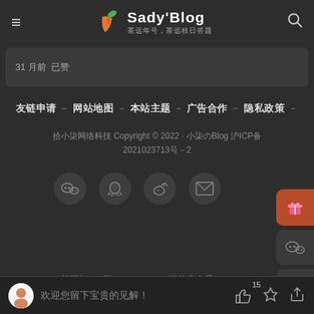Sady'Blog 茶远年号，茶远枝日答题
31 月前 已赞
友链申请 － 网站地图 － 本站主题 － 广告合作 － 隐私政策 －
拾小柒网络科技 Copyright © 2022 · 小柒のBlog 沪ICP备 2021023713号－2
[Figure (screenshot): Social media icons row: WeChat, QQ, Weibo, Email]
[Figure (infographic): Floating sidebar buttons: gift (red), WeChat, scroll-to-top]
扫码加QQ群　　微信公众号
欢迎您留下宝贵的见解！